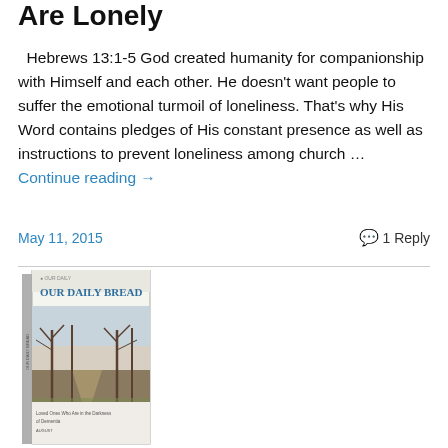Are Lonely
Hebrews 13:1-5 God created humanity for companionship with Himself and each other. He doesn't want people to suffer the emotional turmoil of loneliness. That's why His Word contains pledges of His constant presence as well as instructions to prevent loneliness among church … Continue reading →
May 11, 2015   1 Reply
[Figure (photo): Cover of 'Our Daily Bread' devotional book featuring a tree-lined path in autumn/winter.]